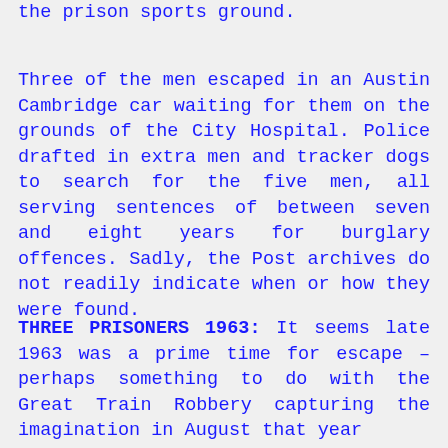the prison sports ground.
Three of the men escaped in an Austin Cambridge car waiting for them on the grounds of the City Hospital. Police drafted in extra men and tracker dogs to search for the five men, all serving sentences of between seven and eight years for burglary offences. Sadly, the Post archives do not readily indicate when or how they were found.
THREE PRISONERS 1963: It seems late 1963 was a prime time for escape – perhaps something to do with the Great Train Robbery capturing the imagination in August that year